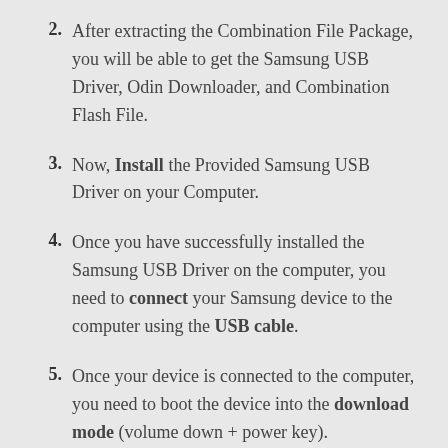After extracting the Combination File Package, you will be able to get the Samsung USB Driver, Odin Downloader, and Combination Flash File.
Now, Install the Provided Samsung USB Driver on your Computer.
Once you have successfully installed the Samsung USB Driver on the computer, you need to connect your Samsung device to the computer using the USB cable.
Once your device is connected to the computer, you need to boot the device into the download mode (volume down + power key).
Once your device is in Download Mode, Launch the